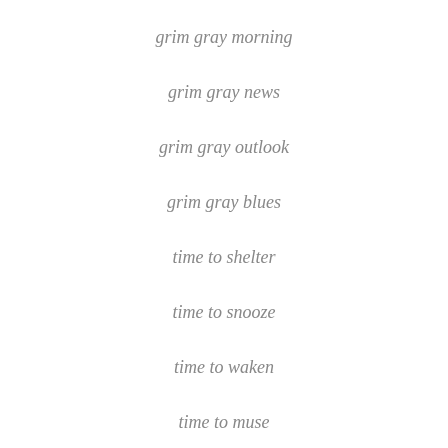grim gray morning
grim gray news
grim gray outlook
grim gray blues
time to shelter
time to snooze
time to waken
time to muse